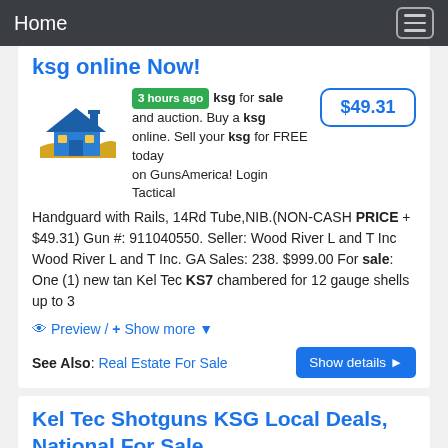Home
ksg online Now!
3 hours ago ksg for sale and auction. Buy a ksg online. Sell your ksg for FREE today on GunsAmerica! Login Tactical Handguard with Rails, 14Rd Tube,NIB.(NON-CASH PRICE + $49.31) Gun #: 911040550. Seller: Wood River L and T Inc Wood River L and T Inc. GA Sales: 238. $999.00 For sale: One (1) new tan Kel Tec KS7 chambered for 12 gauge shells up to 3
$49.31
Preview / + Show more
See Also: Real Estate For Sale
Show details
Kel Tec Shotguns KSG Local Deals, National For Sale